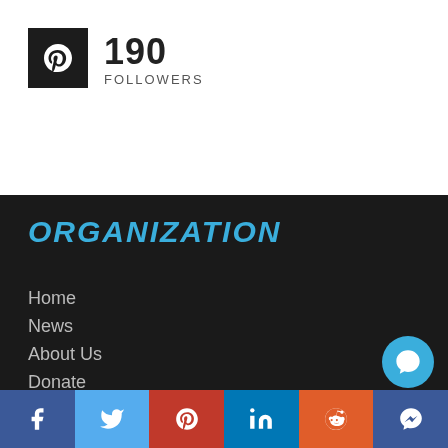[Figure (logo): Pinterest icon logo on dark square background with follower count: 190 FOLLOWERS]
190
FOLLOWERS
ORGANIZATION
Home
News
About Us
Donate
Subscribe
Volunteer
Contact Us
Space Links
[Figure (infographic): Social share bar with Facebook, Twitter, Pinterest, LinkedIn, Reddit, Messenger icons]